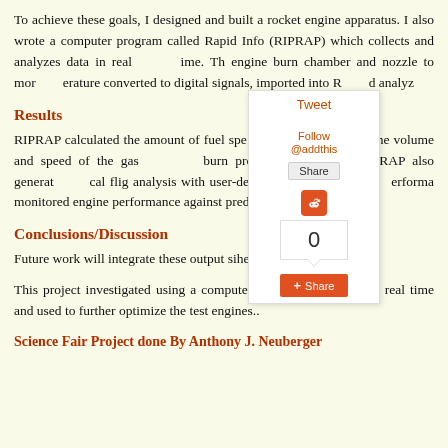To achieve these goals, I designed and built a rocket engine apparatus. I also wrote a computer program called Rapid Info (RIPRAP) which collects and analyzes data in real time. The engine burn chamber and nozzle to monitor temperature and converted to digital signals, imported into RIPRAP, and analyzed.
Results
RIPRAP calculated the amount of fuel spent, amount of fuel through the nozzle, the volume and speed of the gas during burn chamber, thrust produced over time. RIPRAP also generated cal flight analysis with user-defined parameters to monitor performance and monitored engine performance against predicted values and goals.
Conclusions/Discussion
Future work will integrate these output signals into the rocket control loop.
This project investigated using a computer program that I wrote to analyze in real time and used to further optimize the test engines..
Science Fair Project done By Anthony J. Neuberger